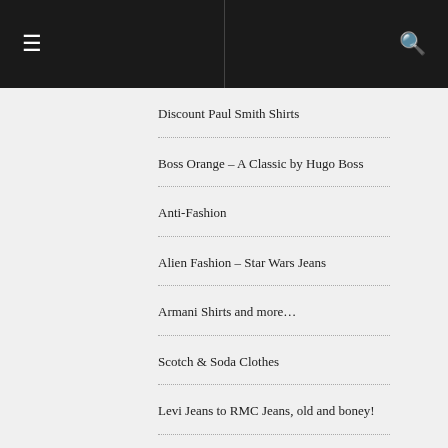☰  🔍
Discount Paul Smith Shirts
Boss Orange – A Classic by Hugo Boss
Anti-Fashion
Alien Fashion – Star Wars Jeans
Armani Shirts and more…
Scotch & Soda Clothes
Levi Jeans to RMC Jeans, old and boney!
Evisu, the Brand
Massimo Osti – The Unpretentious Fashion Icon
D&G Sizing – Italian Clothing Sizing